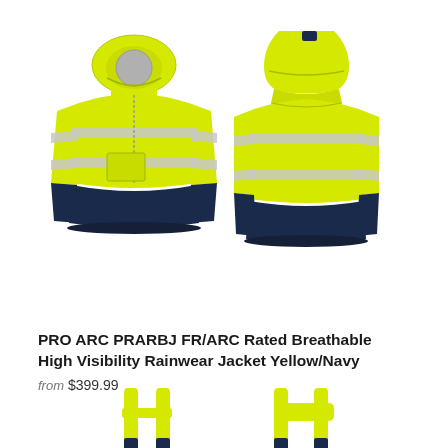[Figure (photo): Front and back views of a yellow and navy high visibility FR/ARC rated breathable rainwear jacket with reflective silver stripes and a hood. The front view shows a mannequin with a gray face placeholder.]
PRO ARC PRARBJ FR/ARC Rated Breathable High Visibility Rainwear Jacket Yellow/Navy
from $399.99
[Figure (photo): Partial bottom view showing yellow high visibility suspenders/overalls straps with navy accents, front and back views cropped.]